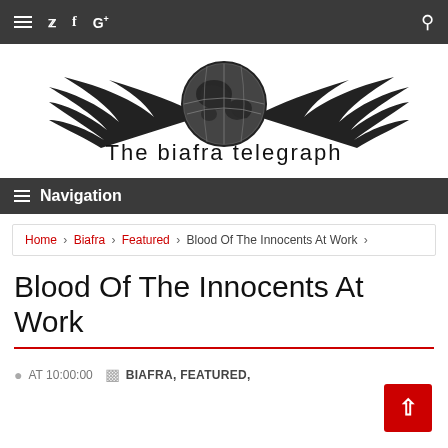☰ 🐦 f G+ 🔍
[Figure (logo): The Biafra Telegraph logo: winged globe with text 'The biafra telegraph']
☰ Navigation
Home > Biafra > Featured > Blood Of The Innocents At Work >
Blood Of The Innocents At Work
AT 10:00:00   BIAFRA, FEATURED,